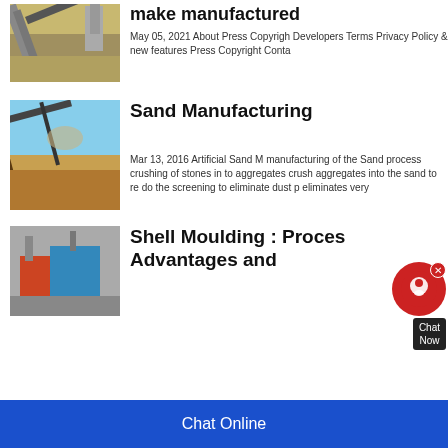[Figure (photo): Industrial conveyor belt system with silos and machinery in background]
make manufactured
May 05, 2021 About Press Copyright Developers Terms Privacy Policy & new features Press Copyright Conta
[Figure (photo): Conveyor belt with dust/sand particles in the air against a blue sky]
Sand Manufacturing
Mar 13, 2016 Artificial Sand M manufacturing of the Sand process crushing of stones in to aggregates crush aggregates into the sand to re do the screening to eliminate dust p eliminates very
[Figure (photo): Industrial crusher/screening equipment with red hopper and blue structure]
Shell Moulding : Proces Advantages and
Chat Online